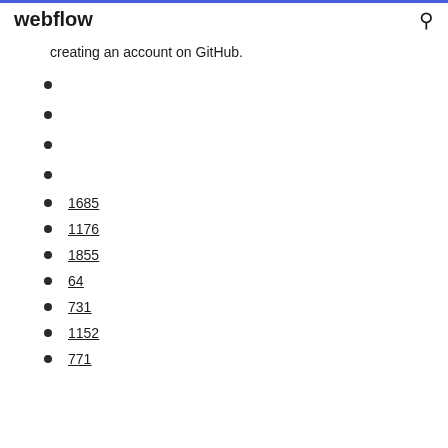webflow
creating an account on GitHub.
1685
1176
1855
64
731
1152
771